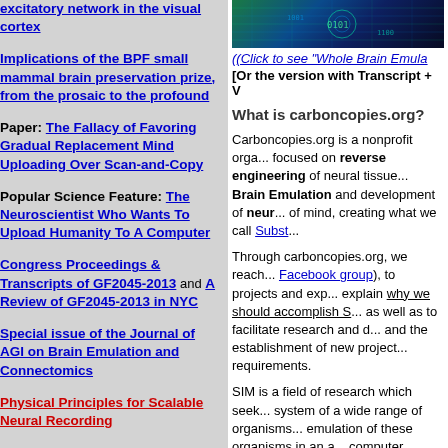excitatory network in the visual cortex
Implications of the BPF small mammal brain preservation prize, from the prosaic to the profound
Paper: The Fallacy of Favoring Gradual Replacement Mind Uploading Over Scan-and-Copy
Popular Science Feature: The Neuroscientist Who Wants To Upload Humanity To A Computer
Congress Proceedings & Transcripts of GF2045-2013 and A Review of GF2045-2013 in NYC
Special issue of the Journal of AGI on Brain Emulation and Connectomics
Physical Principles for Scalable Neural Recording
[Figure (photo): Dark background image with digital brain/circuit pattern in blue-green tones]
(Click to see "Whole Brain Emula...
[Or the version with Transcript + V...
What is carboncopies.org?
Carboncopies.org is a nonprofit orga... focused on reverse engineering of neural tissue... Brain Emulation and development of neur... of mind, creating what we call Subst...
Through carboncopies.org, we reach... Facebook group), to projects and exp... explain why we should accomplish S... as well as to facilitate research and d... and the establishment of new project... requirements.
SIM is a field of research which seek... system of a wide range of organisms... emulation of these organisms in an a... computer processor.